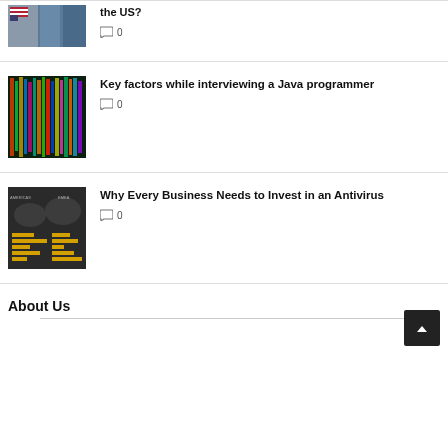[Figure (photo): Thumbnail image of US flag and skyscrapers]
the US?
0 comments
[Figure (photo): Thumbnail image of colorful code/programming visualization]
Key factors while interviewing a Java programmer
0 comments
[Figure (infographic): Thumbnail showing antivirus/world map infographic with yellow bars]
Why Every Business Needs to Invest in an Antivirus
0 comments
About Us